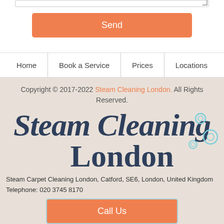[Figure (screenshot): Textarea bottom edge with resize handle]
Send
Home | Book a Service | Prices | Locations
Copyright © 2017-2022 Steam Cleaning London. All Rights Reserved.
[Figure (logo): Steam Cleaning London logo in dark navy italic/script font with light blue bubble decorations]
Steam Carpet Cleaning London, Catford, SE6, London, United Kingdom
Telephone: 020 3745 8170
Call Us